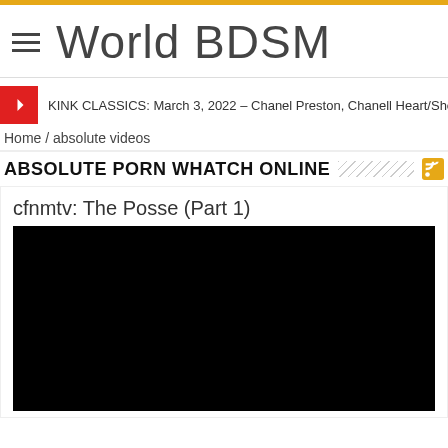World BDSM
KINK CLASSICS: March 3, 2022 – Chanel Preston, Chanell Heart/Shock The...
Home / absolute videos
ABSOLUTE PORN WHATCH ONLINE
cfnmtv: The Posse (Part 1)
[Figure (other): Black video player area]